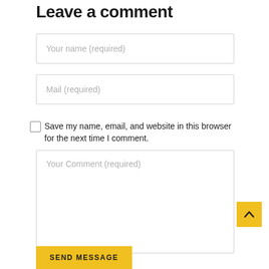Leave a comment
Your name (required)
Mail (required)
Save my name, email, and website in this browser for the next time I comment.
Your Comment (required)
SEND MESSAGE